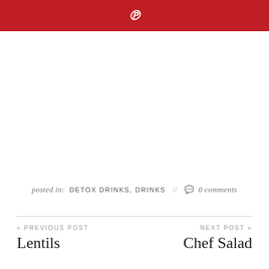Pinterest icon (P)
posted in: DETOX DRINKS, DRINKS // 0 comments
« PREVIOUS POST
Lentils
NEXT POST »
Chef Salad